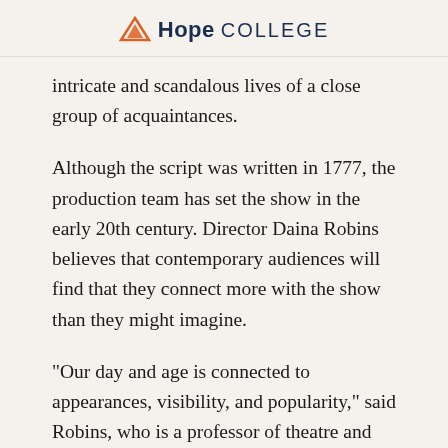Hope COLLEGE
intricate and scandalous lives of a close group of acquaintances.
Although the script was written in 1777, the production team has set the show in the early 20th century. Director Daina Robins believes that contemporary audiences will find that they connect more with the show than they might imagine.
"Our day and age is connected to appearances, visibility, and popularity," said Robins, who is a professor of theatre and chairperson of the department. "We are obsessed with knowing every gory detail, whether through Facebook or reality